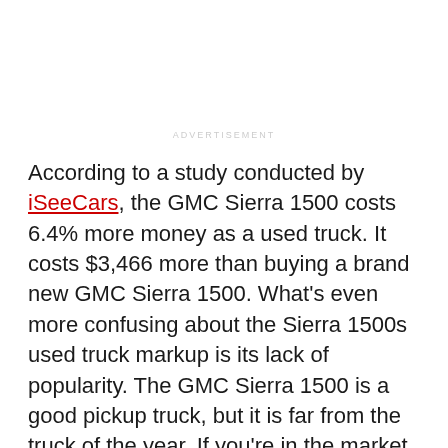ADVERTISEMENT
According to a study conducted by iSeeCars, the GMC Sierra 1500 costs 6.4% more money as a used truck. It costs $3,466 more than buying a brand new GMC Sierra 1500. What's even more confusing about the Sierra 1500s used truck markup is its lack of popularity. The GMC Sierra 1500 is a good pickup truck, but it is far from the truck of the year. If you're in the market for a GMC Sierra 1500, then you are